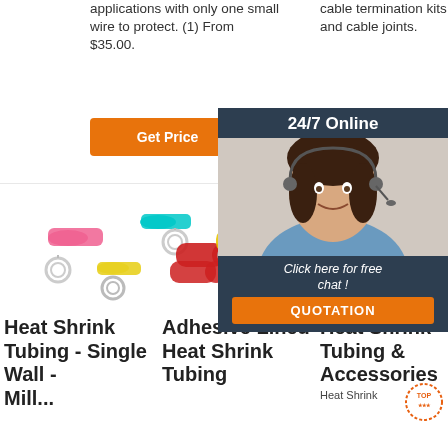applications with only one small wire to protect. (1) From $35.00.
cable termination kits and cable joints.
Get Price
Get Price
24/7 Online
[Figure (photo): Customer service representative smiling with headset]
Click here for free chat !
QUOTATION
[Figure (photo): Heat shrink ring terminals in pink, teal, and yellow]
[Figure (photo): Adhesive lined heat shrink butt connectors in red, yellow, blue]
[Figure (photo): Blue heat shrink terminals/connectors in a row]
Heat Shrink Tubing - Single Wall - Mill...
Adhesive Lined Heat Shrink Tubing
Heat Shrink Tubing & Accessories
Heat Shrink